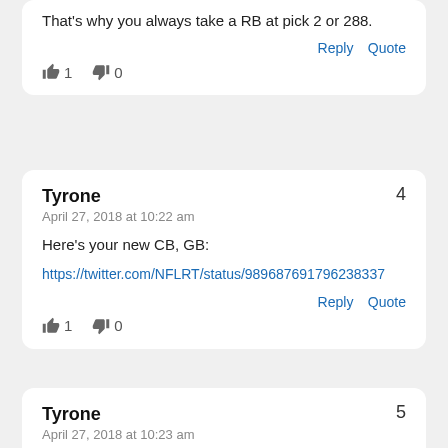That's why you always take a RB at pick 2 or 288.
Reply  Quote
👍 1  👎 0
Tyrone
April 27, 2018 at 10:22 am
Here's your new CB, GB:
https://twitter.com/NFLRT/status/989687691796238337
Reply  Quote
👍 1  👎 0
Tyrone
April 27, 2018 at 10:23 am